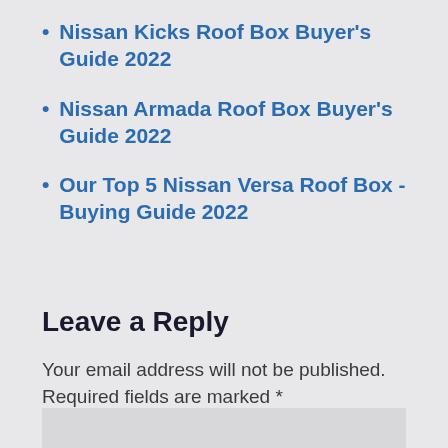Nissan Kicks Roof Box Buyer's Guide 2022
Nissan Armada Roof Box Buyer's Guide 2022
Our Top 5 Nissan Versa Roof Box - Buying Guide 2022
Leave a Reply
Your email address will not be published. Required fields are marked *